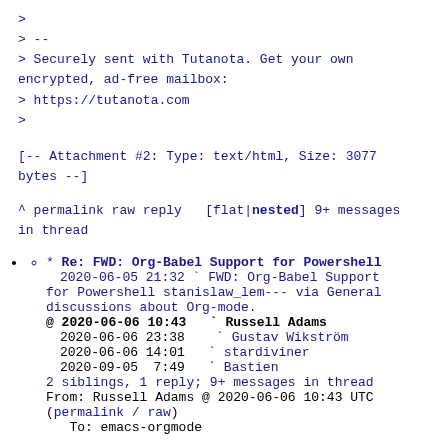>
> --
> Securely sent with Tutanota. Get your own encrypted, ad-free mailbox:
> https://tutanota.com
>
[-- Attachment #2: Type: text/html, Size: 3077 bytes --]
^ permalink raw reply   [flat|nested] 9+ messages in thread
• o * Re: FWD: Org-Babel Support for Powershell 2020-06-05 21:32 ` FWD: Org-Babel Support for Powershell stanislaw_lem--- via General discussions about Org-mode. @ 2020-06-06 10:43   ` Russell Adams 2020-06-06 23:38     ` Gustav Wikström 2020-06-06 14:01   ` stardiviner 2020-09-05  7:49   ` Bastien 2 siblings, 1 reply; 9+ messages in thread From: Russell Adams @ 2020-06-06 10:43 UTC (permalink / raw) To: emacs-orgmode On Fri, Jun 05, 2020 at 11:32:45PM +0200,